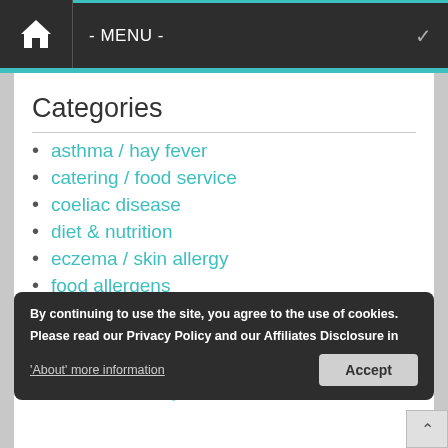- MENU -
Categories
asthma / hay fever
catering / food service
coeliac disease
diet & nutrition
eczema / skin allergy
food allergens
food allergy
free from food
free from lifestyle
By continuing to use the site, you agree to the use of cookies. Please read our Privacy Policy and our Affiliates Disclosure in 'About' more information
Accept